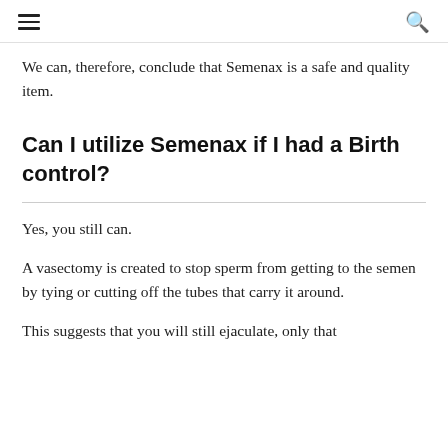≡  🔍
We can, therefore, conclude that Semenax is a safe and quality item.
Can I utilize Semenax if I had a Birth control?
Yes, you still can.
A vasectomy is created to stop sperm from getting to the semen by tying or cutting off the tubes that carry it around.
This suggests that you will still ejaculate, only that